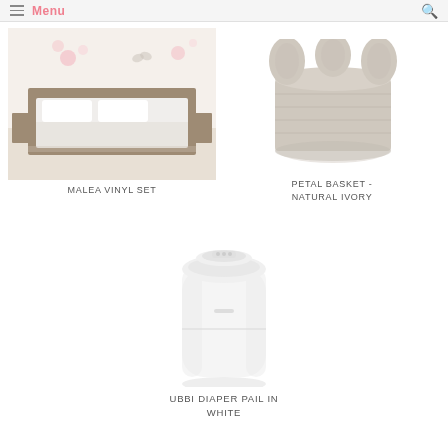Menu
[Figure (photo): Malea vinyl set: bedroom with wood bed frame, white bedding, and floral butterfly wall decals]
MALEA VINYL SET
[Figure (photo): Petal Basket in Natural Ivory: round woven basket with petal-shaped ears on top]
PETAL BASKET - NATURAL IVORY
[Figure (photo): Ubbi Diaper Pail in White: tall cylindrical white diaper pail with oval lid]
UBBI DIAPER PAIL IN WHITE